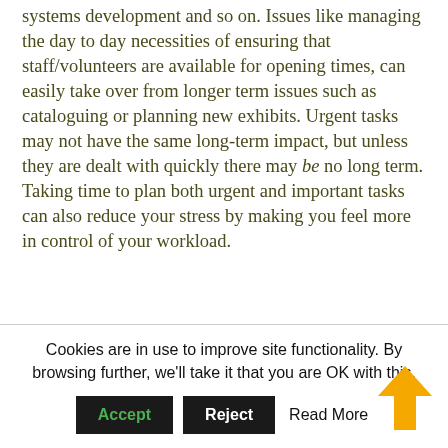systems development and so on. Issues like managing the day to day necessities of ensuring that staff/volunteers are available for opening times, can easily take over from longer term issues such as cataloguing or planning new exhibits. Urgent tasks may not have the same long-term impact, but unless they are dealt with quickly there may be no long term. Taking time to plan both urgent and important tasks can also reduce your stress by making you feel more in control of your workload.
Cookies are in use to improve site functionality. By browsing further, we'll take it that you are OK with this.